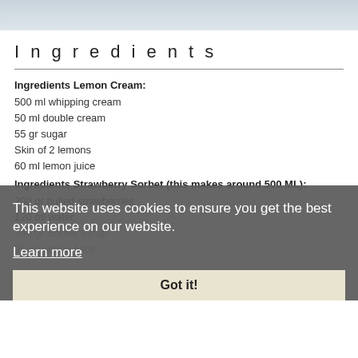[Figure (photo): Top banner photo strip, light blue-grey gradient, partial view of a food/dessert photo]
Ingredients
Ingredients Lemon Cream:
500 ml whipping cream
50 ml double cream
55 gr sugar
Skin of 2 lemons
60 ml lemon juice
Ingredients Strawberry Sorbet (this makes around 500 ML):
200 gr hulled strawberries
120 ml water
240 gr Sorbet Syrup
20 ml lemon juice
This website uses cookies to ensure you get the best experience on our website. Learn more
Got it!